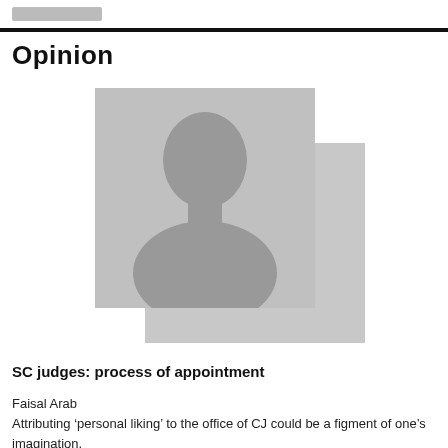Opinion
[Figure (photo): Placeholder silhouette headshot image of a person, grey tones, with a shadow rectangle behind it.]
SC judges: process of appointment
Faisal Arab
Attributing ‘personal liking’ to the office of CJ could be a figment of one’s imagination.